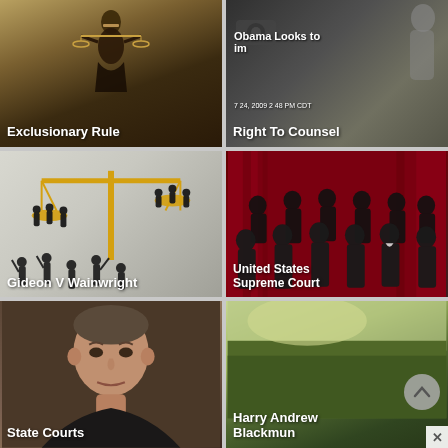[Figure (photo): Tile with lady justice scales silhouette on dark golden-brown background, labeled Exclusionary Rule]
[Figure (photo): Dark news screenshot tile with text 'Obama Looks to' and 'Right To Counsel' overlay, timestamp visible]
[Figure (illustration): Artistic illustration of scales of justice with golden/yellow scales and black silhouettes of people on light grey background, labeled Gideon V Wainwright]
[Figure (photo): Photo of United States Supreme Court justices posed in front of red curtain, labeled United States Supreme Court]
[Figure (photo): Portrait photo of a middle-aged man in dark clothing against dark background, labeled State Courts]
[Figure (photo): Outdoor grassy scene photo labeled Harry Andrew Blackmun, with chevron up button and close X button overlay]